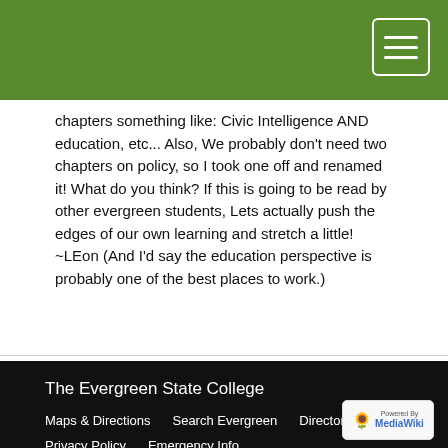[Figure (screenshot): Green header bar with hamburger menu button (three white horizontal lines in a white-bordered rounded rectangle) in the top right corner.]
chapters something like: Civic Intelligence AND education, etc... Also, We probably don't need two chapters on policy, so I took one off and renamed it! What do you think? If this is going to be read by other evergreen students, Lets actually push the edges of our own learning and stretch a little! ~LEon (And I'd say the education perspective is probably one of the best places to work.)
The Evergreen State College
Maps & Directions   Search Evergreen   Directories
Privacy Policy   Emergency Info